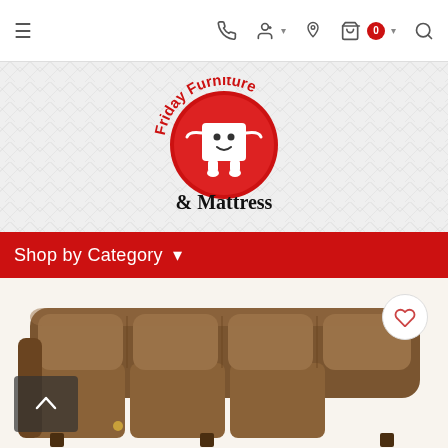Navigation bar with hamburger menu, phone, account, location, cart (0), and search icons
[Figure (logo): Friday Furniture & Mattress logo: red circular badge with white mattress character, red cursive text 'Friday Furniture' on top arc, black serif '& Mattress' below, on a diamond-patterned light gray background]
Shop by Category ▾
[Figure (photo): Brown leather recliner sofa, partially visible at bottom of page, with a wishlist heart button in top-right corner and a back-to-top arrow button in bottom-left]